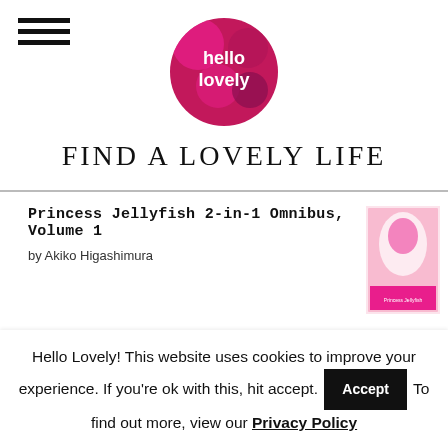[Figure (logo): Hello Lovely circular logo with pink/magenta floral background and white text]
FIND A LOVELY LIFE
Princess Jellyfish 2-in-1 Omnibus, Volume 1 by Akiko Higashimura
An Unlasting Home by Mai Al-Nakib
Bakuman, Vol. 1: Dreams and Reality by Tsugumi Ohba
Hello Lovely! This website uses cookies to improve your experience. If you're ok with this, hit accept. To find out more, view our Privacy Policy